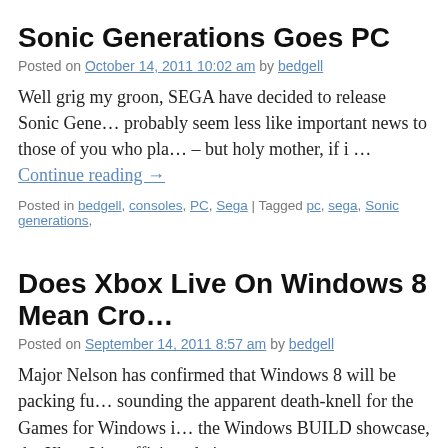Sonic Generations Goes PC
Posted on October 14, 2011 10:02 am by bedgell
Well grig my groon, SEGA have decided to release Sonic Gene… probably seem less like important news to those of you who pla… – but holy mother, if i … Continue reading →
Posted in bedgell, consoles, PC, Sega | Tagged pc, sega, Sonic generations,
Does Xbox Live On Windows 8 Mean Cro…
Posted on September 14, 2011 8:57 am by bedgell
Major Nelson has confirmed that Windows 8 will be packing fu… sounding the apparent death-knell for the Games for Windows i… the Windows BUILD showcase, the Xbox Live afficionado issu…
Posted in bedgell, consoles, News, PC, XBox 360 | Tagged major nelson, mi… 1 Comment